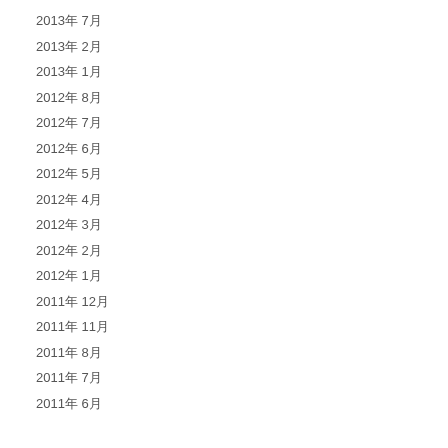2013年 7月
2013年 2月
2013年 1月
2012年 8月
2012年 7月
2012年 6月
2012年 5月
2012年 4月
2012年 3月
2012年 2月
2012年 1月
2011年 12月
2011年 11月
2011年 8月
2011年 7月
2011年 6月